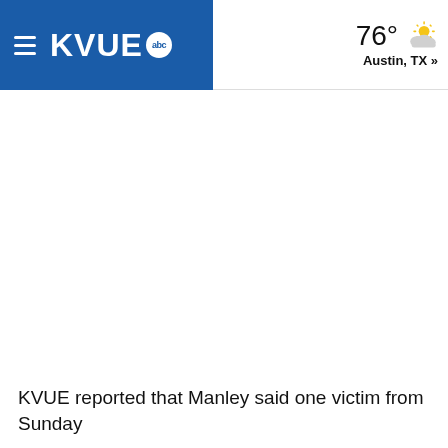KVUE abc | 76° Austin, TX »
KVUE reported that Manley said one victim from Sunday